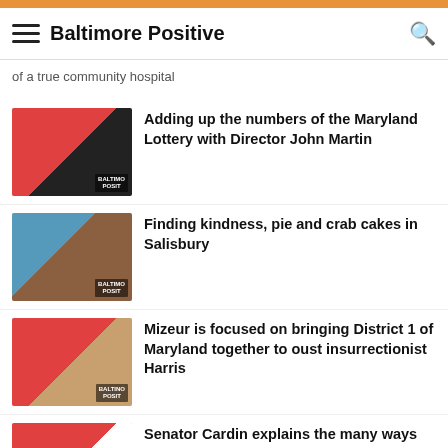Baltimore Positive
of a true community hospital
[Figure (photo): Two men with microphones and headsets at a Baltimore Positive podcast recording]
Adding up the numbers of the Maryland Lottery with Director John Martin
[Figure (photo): Group of people at a Baltimore Positive event, one holding a popcorn container]
Finding kindness, pie and crab cakes in Salisbury
[Figure (photo): Two men at a Baltimore Positive podcast recording studio]
Mizeur is focused on bringing District 1 of Maryland together to oust insurrectionist Harris
[Figure (photo): Podcast recording with two people visible]
Senator Cardin explains the many ways the Inflation Reduction Act will help